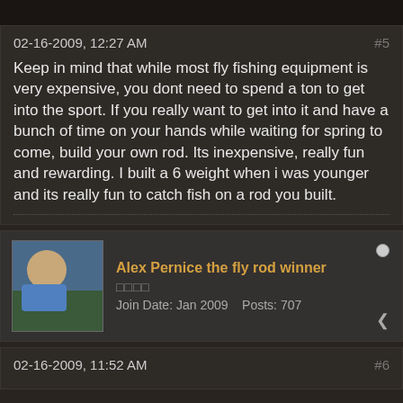02-16-2009, 12:27 AM
#5
Keep in mind that while most fly fishing equipment is very expensive, you dont need to spend a ton to get into the sport. If you really want to get into it and have a bunch of time on your hands while waiting for spring to come, build your own rod. Its inexpensive, really fun and rewarding. I built a 6 weight when i was younger and its really fun to catch fish on a rod you built.
Alex Pernice the fly rod winner
Join Date: Jan 2009   Posts: 707
02-16-2009, 11:52 AM
#6